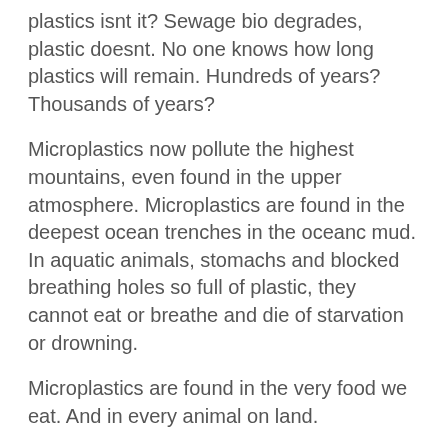plastics isnt it? Sewage bio degrades, plastic doesnt. No one knows how long plastics will remain. Hundreds of years? Thousands of years?
Microplastics now pollute the highest mountains, even found in the upper atmosphere. Microplastics are found in the deepest ocean trenches in the oceanc mud. In aquatic animals, stomachs and blocked breathing holes so full of plastic, they cannot eat or breathe and die of starvation or drowning.
Microplastics are found in the very food we eat. And in every animal on land.
In the placenta of babies.
Polyester masks and plastic bags and containers are choking the oceans and the landfill of every contry. Half the plasic pollution on the planet comes from